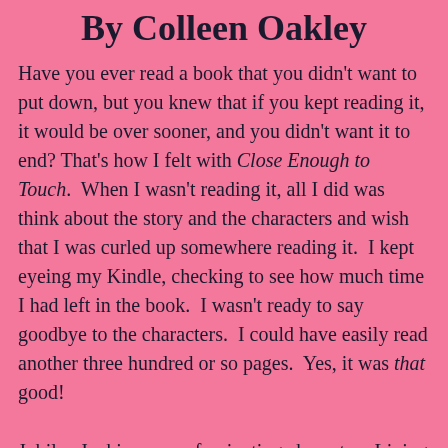By Colleen Oakley
Have you ever read a book that you didn't want to put down, but you knew that if you kept reading it, it would be over sooner, and you didn't want it to end? That's how I felt with Close Enough to Touch.  When I wasn't reading it, all I did was think about the story and the characters and wish that I was curled up somewhere reading it.  I kept eyeing my Kindle, checking to see how much time I had left in the book.  I wasn't ready to say goodbye to the characters.  I could have easily read another three hundred or so pages.  Yes, it was that good!
Jubilee Jenkins was a fascinating character.  Living her life without being able to touch another human would be a